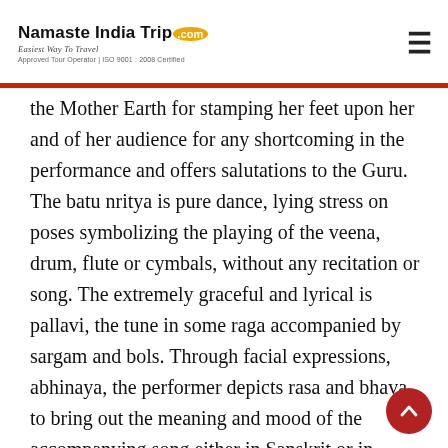Namaste India Trip.com — Easiest Way To Travel — Approved Tour Operator | ISO 9001 : 2008 Certified
the Mother Earth for stamping her feet upon her and of her audience for any shortcoming in the performance and offers salutations to the Guru. The batu nritya is pure dance, lying stress on poses symbolizing the playing of the veena, drum, flute or cymbals, without any recitation or song. The extremely graceful and lyrical is pallavi, the tune in some raga accompanied by sargam and bols. Through facial expressions, abhinaya, the performer depicts rasa and bhava to bring out the meaning and mood of the accompanying song either in Sanskrit or in Oriya. These romantic compositions are